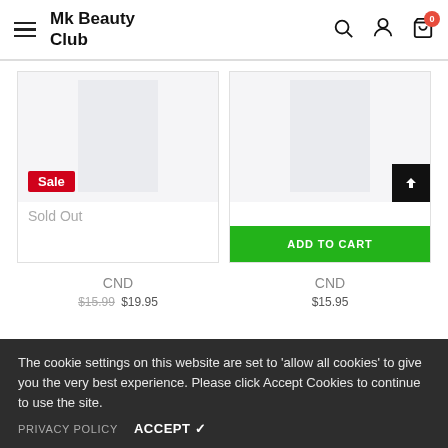Mk Beauty Club
[Figure (screenshot): Product card 1: Sale badge and Sold Out label, no add to cart button]
[Figure (screenshot): Product card 2: Add to Cart green button, scroll-to-top button]
CND
CND
$15.99  $19.95
$15.95
The cookie settings on this website are set to 'allow all cookies' to give you the very best experience. Please click Accept Cookies to continue to use the site.
PRIVACY POLICY   ACCEPT ✓